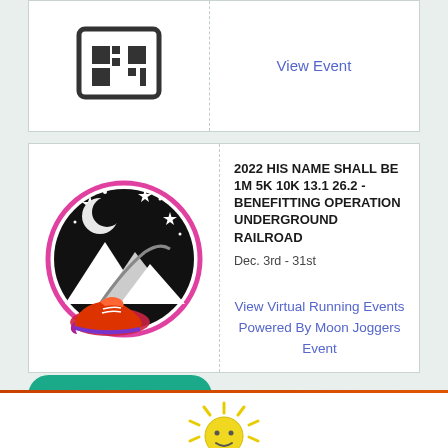[Figure (illustration): Partial view of a calendar/grid icon in the top card row]
View Event
[Figure (logo): Moon Joggers circular logo: black circle with moon, stars, mountains, and a running shoe (pink/red/purple), surrounded by a pink ring]
2022 HIS NAME SHALL BE 1M 5K 10K 13.1 26.2 - BENEFITTING OPERATION UNDERGROUND RAILROAD
Dec. 3rd - 31st
View Virtual Running Events Powered By Moon Joggers Event
Submit An Event
[Figure (illustration): Partial yellow cartoon sun illustration at the bottom of the page]